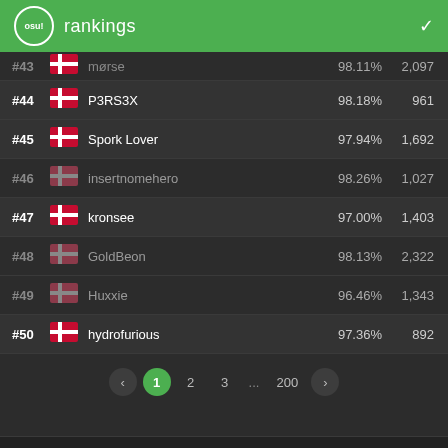osu! rankings
| Rank | Flag | Name | Accuracy | PP |
| --- | --- | --- | --- | --- |
| #43 | DK | mørse | 98.11% | 2,097 |
| #44 | DK | P3RS3X | 98.18% | 961 |
| #45 | DK | Spork Lover | 97.94% | 1,692 |
| #46 | DK | insertnomehero | 98.26% | 1,027 |
| #47 | DK | kronsee | 97.00% | 1,403 |
| #48 | DK | GoldBeon | 98.13% | 2,322 |
| #49 | DK | Huxxie | 96.46% | 1,343 |
| #50 | DK | hydrofurious | 97.36% | 892 |
Pagination: < 1 2 3 ... 200 >
Terms  Privacy  Copyright (DMCA)  Server Status  Source Code
ppy powered 2007-2022